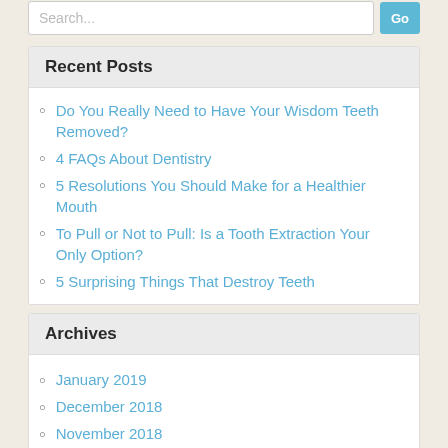Do You Really Need to Have Your Wisdom Teeth Removed?
4 FAQs About Dentistry
5 Resolutions You Should Make for a Healthier Mouth
To Pull or Not to Pull: Is a Tooth Extraction Your Only Option?
5 Surprising Things That Destroy Teeth
Archives
January 2019
December 2018
November 2018